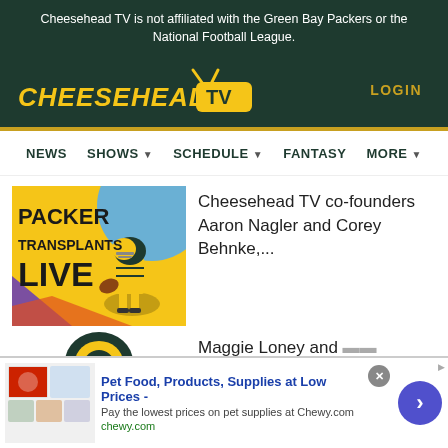Cheesehead TV is not affiliated with the Green Bay Packers or the National Football League.
[Figure (logo): Cheesehead TV logo with yellow text and TV icon]
LOGIN
NEWS  SHOWS  SCHEDULE  FANTASY  MORE
[Figure (illustration): Packer Transplants Live show artwork with mascot]
Cheesehead TV co-founders Aaron Nagler and Corey Behnke,...
Maggie Loney and ...
[Figure (illustration): Advertisement: Pet Food, Products, Supplies at Low Prices - Chewy.com]